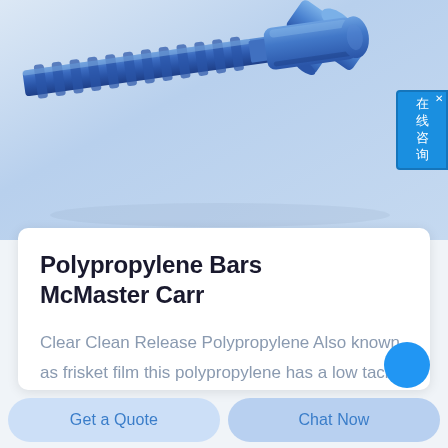[Figure (photo): Blue polypropylene threaded rod/barb fitting components on a light blue-gray background. Two pieces visible: a long threaded rod with barbed end on the left-center, and a cap piece in the upper right.]
Polypropylene Bars McMaster Carr
Clear Clean Release Polypropylene Also known as frisket film this polypropylene has a low tack adhesive that releases
Get a Quote
Chat Now